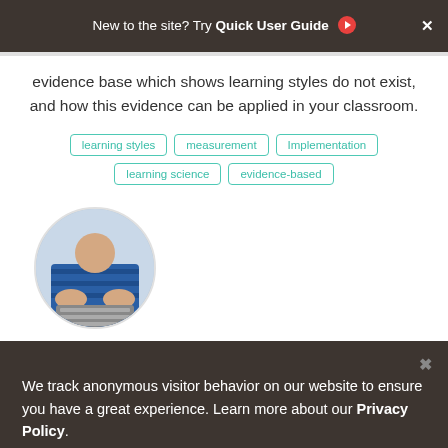New to the site? Try Quick User Guide ▶ ✕
evidence base which shows learning styles do not exist, and how this evidence can be applied in your classroom.
learning styles
measurement
Implementation
learning science
evidence-based
[Figure (photo): Circular cropped photo of a child using a laptop/keyboard, wearing a blue striped shirt]
We track anonymous visitor behavior on our website to ensure you have a great experience. Learn more about our Privacy Policy.